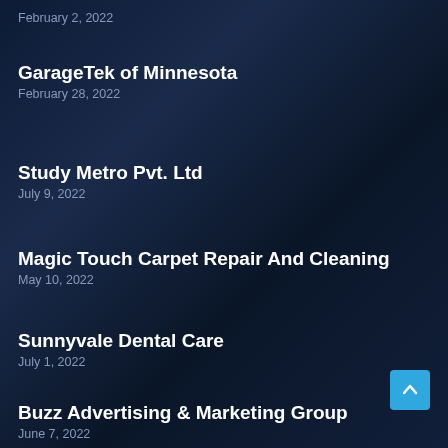February 2, 2022
GarageTek of Minnesota
February 28, 2022
Study Metro Pvt. Ltd
July 9, 2022
Magic Touch Carpet Repair And Cleaning
May 10, 2022
Sunnyvale Dental Care
July 1, 2022
Buzz Advertising & Marketing Group
June 7, 2022